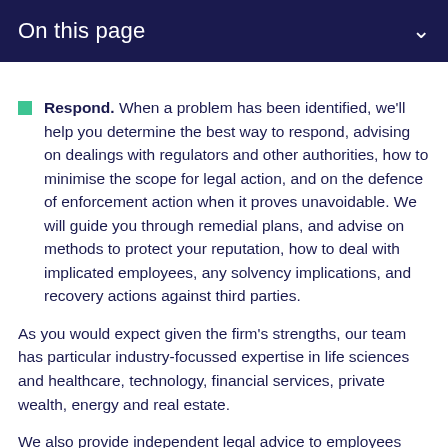On this page
Respond. When a problem has been identified, we'll help you determine the best way to respond, advising on dealings with regulators and other authorities, how to minimise the scope for legal action, and on the defence of enforcement action when it proves unavoidable. We will guide you through remedial plans, and advise on methods to protect your reputation, how to deal with implicated employees, any solvency implications, and recovery actions against third parties.
As you would expect given the firm's strengths, our team has particular industry-focussed expertise in life sciences and healthcare, technology, financial services, private wealth, energy and real estate.
We also provide independent legal advice to employees